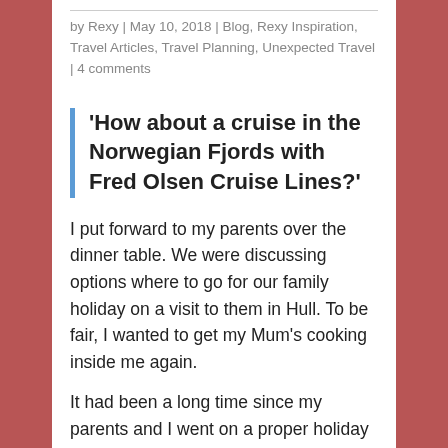by Rexy | May 10, 2018 | Blog, Rexy Inspiration, Travel Articles, Travel Planning, Unexpected Travel | 4 comments
'How about a cruise in the Norwegian Fjords with Fred Olsen Cruise Lines?'
I put forward to my parents over the dinner table. We were discussing options where to go for our family holiday on a visit to them in Hull. To be fair, I wanted to get my Mum's cooking inside me again.
It had been a long time since my parents and I went on a proper holiday abroad together. The last time abroad was in Portugal for my neighbours' wedding but it wasn't a proper